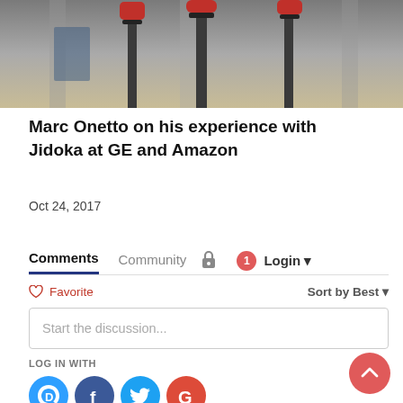[Figure (photo): Close-up photo of industrial Andon light tower poles (red caps on black shafts) against a blurred grey/beige background]
Marc Onetto on his experience with Jidoka at GE and Amazon
Oct 24, 2017
Comments
Community
Login
Favorite
Sort by Best
Start the discussion...
LOG IN WITH